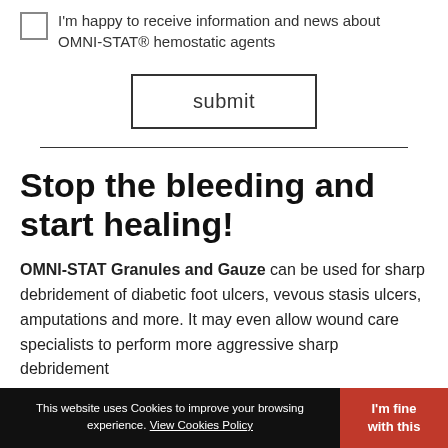I'm happy to receive information and news about OMNI-STAT® hemostatic agents
submit
Stop the bleeding and start healing!
OMNI-STAT Granules and Gauze can be used for sharp debridement of diabetic foot ulcers, vevous stasis ulcers, amputations and more. It may even allow wound care specialists to perform more aggressive sharp debridement
This website uses Cookies to improve your browsing experience. View Cookies Policy  I'm fine with this